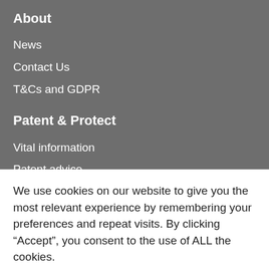About
News
Contact Us
T&Cs and GDPR
Patent & Protect
Vital information
Patent advice
Patent application
Patent search
Trademarks
We use cookies on our website to give you the most relevant experience by remembering your preferences and repeat visits. By clicking “Accept”, you consent to the use of ALL the cookies.
Manage Options
Accept All